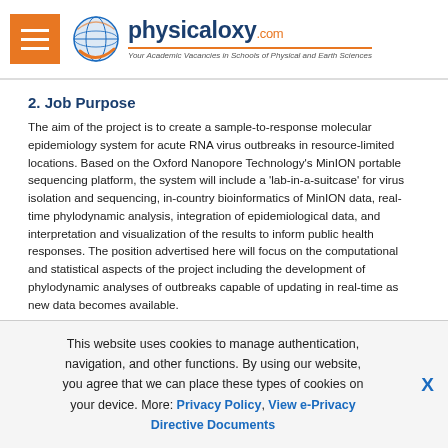physicaloxy.com — Your Academic Vacancies in Schools of Physical and Earth Sciences
2. Job Purpose
The aim of the project is to create a sample-to-response molecular epidemiology system for acute RNA virus outbreaks in resource-limited locations. Based on the Oxford Nanopore Technology's MinION portable sequencing platform, the system will include a 'lab-in-a-suitcase' for virus isolation and sequencing, in-country bioinformatics of MinION data, real-time phylodynamic analysis, integration of epidemiological data, and interpretation and visualization of the results to inform public health responses. The position advertised here will focus on the computational and statistical aspects of the project including the development of phylodynamic analyses of outbreaks capable of updating in real-time as new data becomes available.
3. Main Responsibilities
This website uses cookies to manage authentication, navigation, and other functions. By using our website, you agree that we can place these types of cookies on your device. More: Privacy Policy, View e-Privacy Directive Documents